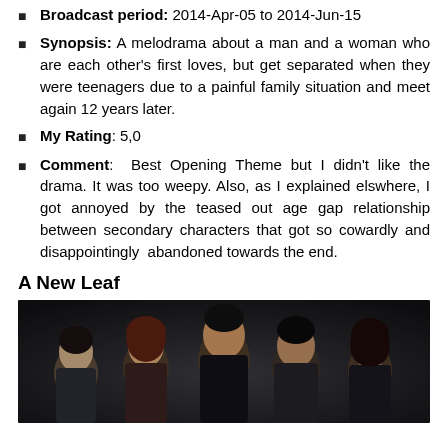Broadcast period: 2014-Apr-05 to 2014-Jun-15
Synopsis: A melodrama about a man and a woman who are each other's first loves, but get separated when they were teenagers due to a painful family situation and meet again 12 years later.
My Rating: 5,0
Comment: Best Opening Theme but I didn't like the drama. It was too weepy. Also, as I explained elswhere, I got annoyed by the teased out age gap relationship between secondary characters that got so cowardly and disappointingly abandoned towards the end.
A New Leaf
[Figure (photo): Group photo of cast members from Korean drama 'A New Leaf', showing five people posed against a dark background]